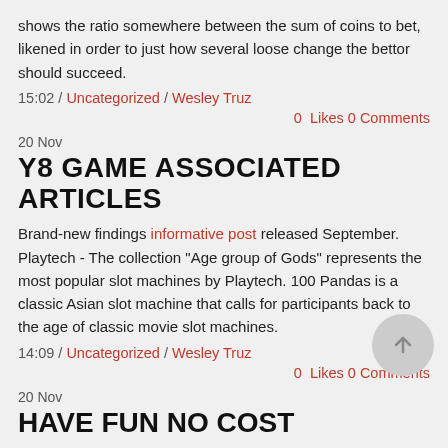shows the ratio somewhere between the sum of coins to bet, likened in order to just how several loose change the bettor should succeed.
15:02 / Uncategorized / Wesley Truz
0  Likes 0 Comments
20 Nov
Y8 GAME ASSOCIATED ARTICLES
Brand-new findings informative post released September. Playtech - The collection "Age group of Gods" represents the most popular slot machines by Playtech. 100 Pandas is a classic Asian slot machine that calls for participants back to the age of classic movie slot machines.
14:09 / Uncategorized / Wesley Truz
0  Likes 0 Comments
20 Nov
HAVE FUN NO COST